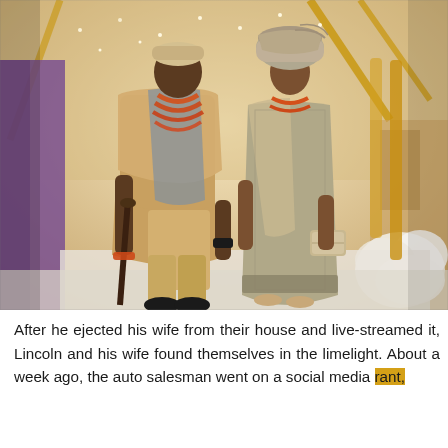[Figure (photo): A couple dressed in traditional Nigerian (Yoruba) attire — the man wearing a golden agbada with coral bead necklaces and a cap, holding a cane; the woman wearing a grey-gold iro and buba with a gele headwrap and coral beads — posing at what appears to be a wedding ceremony venue decorated with gold frames and white flowers.]
After he ejected his wife from their house and live-streamed it, Lincoln and his wife found themselves in the limelight. About a week ago, the auto salesman went on a social media rant,